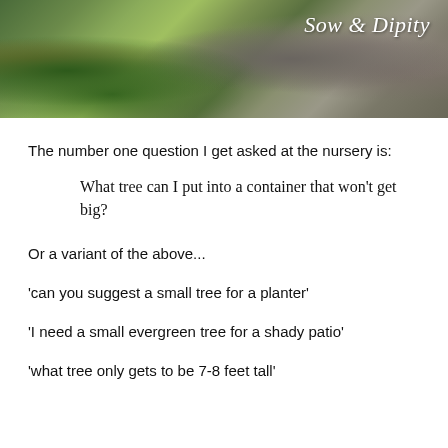[Figure (photo): Header photo of rocks and green plants/moss with 'Sow & Dipity' text overlay in top right corner]
The number one question I get asked at the nursery is:
What tree can I put into a container that won't get big?
Or a variant of the above...
'can you suggest a small tree for a planter'
'I need a small evergreen tree for a shady patio'
'what tree only gets to be 7-8 feet tall'